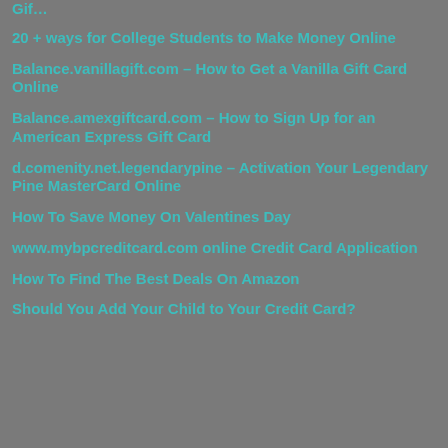20 + ways for College Students to Make Money Online
Balance.vanillagift.com – How to Get a Vanilla Gift Card Online
Balance.amexgiftcard.com – How to Sign Up for an American Express Gift Card
d.comenity.net.legendarypine – Activation Your Legendary Pine MasterCard Online
How To Save Money On Valentines Day
www.mybpcreditcard.com online Credit Card Application
How To Find The Best Deals On Amazon
Should You Add Your Child to Your Credit Card?